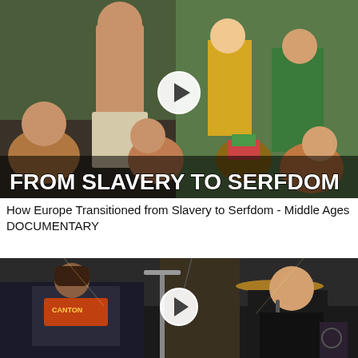[Figure (screenshot): Video thumbnail for 'From Slavery to Serfdom' documentary showing animated and live-action scenes with a play button overlay. Text on thumbnail reads FROM SLAVERY TO SERFDOM in bold white letters.]
How Europe Transitioned from Slavery to Serfdom - Middle Ages DOCUMENTARY
[Figure (screenshot): Video thumbnail showing a live concert or band performance with musicians, one wearing a leather jacket with a back patch, a play button overlay visible in the center.]